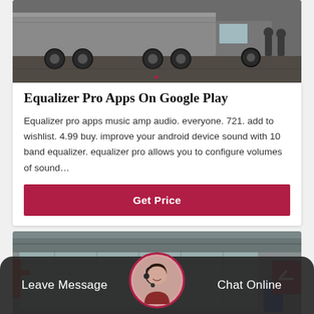[Figure (photo): Top portion of a truck/trailer scene, dark asphalt ground]
Equalizer Pro Apps On Google Play
Equalizer pro apps music amp audio. everyone. 721. add to wishlist. 4.99 buy. improve your android device sound with 10 band equalizer. equalizer pro allows you to configure volumes of sound…
Get Price
[Figure (photo): Factory or industrial building with glass facade and overhead structures]
Leave Message
Chat Online